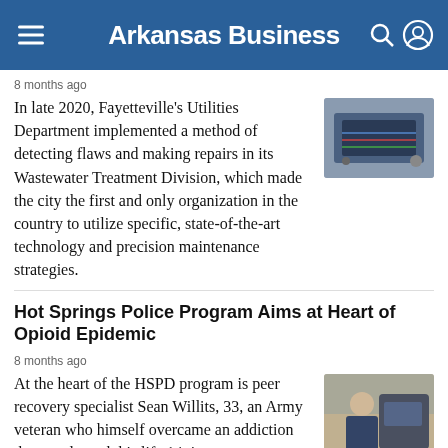Arkansas Business
8 months ago
In late 2020, Fayetteville's Utilities Department implemented a method of detecting flaws and making repairs in its Wastewater Treatment Division, which made the city the first and only organization in the country to utilize specific, state-of-the-art technology and precision maintenance strategies.
Hot Springs Police Program Aims at Heart of Opioid Epidemic
8 months ago
At the heart of the HSPD program is peer recovery specialist Sean Willits, 33, an Army veteran who himself overcame an addiction that nearly took his life 14 times.
Big River, Big Fish, Big Fun Generates Big Dollars in